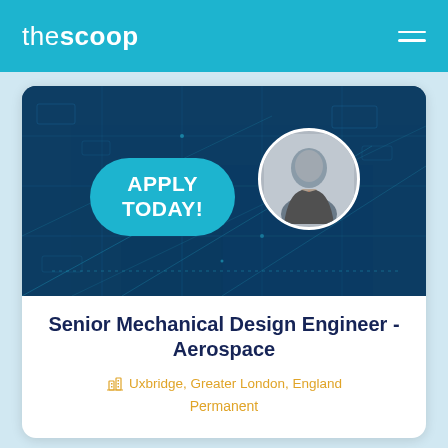thescoop
[Figure (screenshot): Job posting banner image with dark blue tech/circuit board background, a teal pill-shaped button saying APPLY TODAY!, and a circular headshot photo of a man in a suit]
Senior Mechanical Design Engineer - Aerospace
Uxbridge, Greater London, England
Permanent